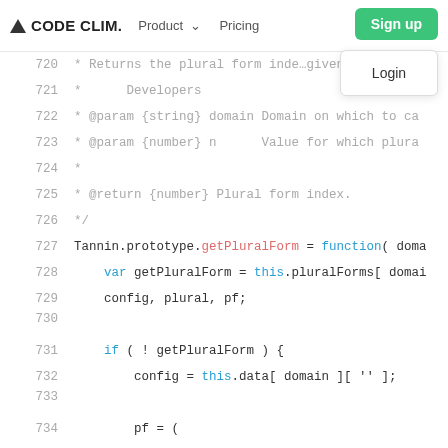CODE CLIM. | Product | Pricing | Sign up | Login
720  * Returns the plural form inde... given
721  *      Developers
722  * @param {string} domain Domain on which to ca
723  * @param {number} n      Value for which plura
724  *
725  * @return {number} Plural form index.
726  */
727  Tannin.prototype.getPluralForm = function( doma
728       var getPluralForm = this.pluralForms[ domai
729       config, plural, pf;
730
731       if ( ! getPluralForm ) {
732           config = this.data[ domain ][ '' ];
733
734           pf = (
735               config[ 'Plural-Forms' ] ||
736               config[ 'plural-forms' ] ||